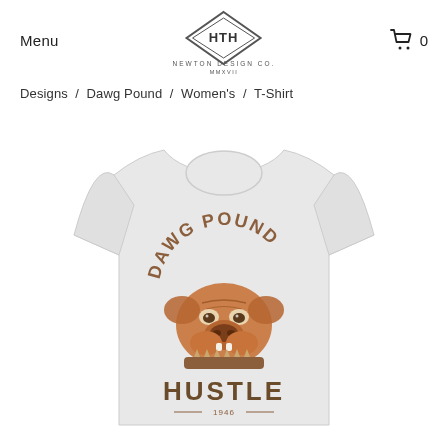Menu | HTH Newton Design Co. MMXVII | 0
Designs / Dawg Pound / Women's / T-Shirt
[Figure (photo): A light grey women's t-shirt featuring a bulldog graphic with the text 'DAWG POUND' arched above and 'HUSTLE' below the dog, with '1946' underneath. The bulldog is illustrated in orange/brown tones with a spiked collar.]